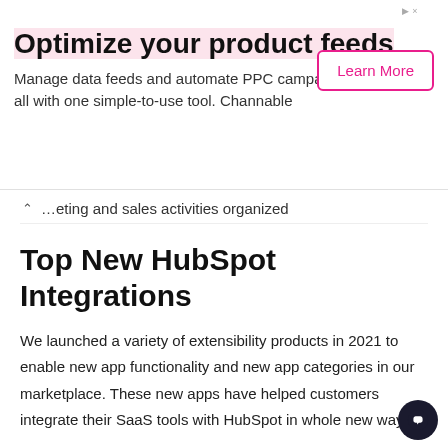[Figure (other): Advertisement banner for Channable: 'Optimize your product feeds' with Learn More button]
…eting and sales activities organized
Top New HubSpot Integrations
We launched a variety of extensibility products in 2021 to enable new app functionality and new app categories in our marketplace. These new apps have helped customers integrate their SaaS tools with HubSpot in whole new ways.
Top 8 Data Sync Apps
Early last year, HubSpot launched Operations Hub, which includes Data Sync. Data sync integrations pack the punch of custom-b… connectors — bidirectional and multi-object sync, custom field